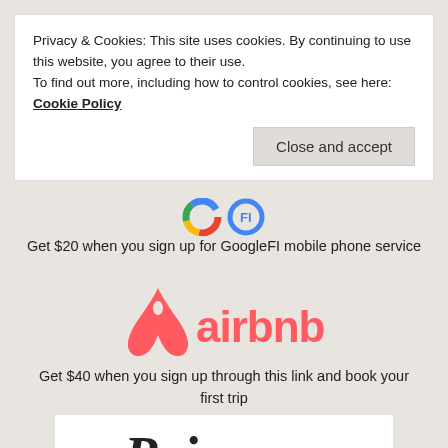Privacy & Cookies: This site uses cookies. By continuing to use this website, you agree to their use.
To find out more, including how to control cookies, see here: Cookie Policy
Close and accept
Get $20 when you sign up for GoogleFI mobile phone service
[Figure (logo): Airbnb logo — coral/salmon colored triangle icon with a loop and the word 'airbnb' in coral]
Get $40 when you sign up through this link and book your first trip
[Figure (logo): Raise logo — dark stylized cursive lettering on white background]